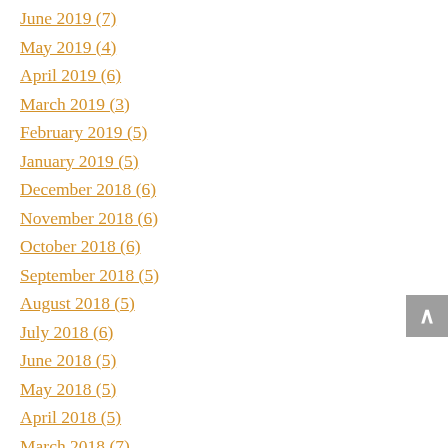June 2019 (7)
May 2019 (4)
April 2019 (6)
March 2019 (3)
February 2019 (5)
January 2019 (5)
December 2018 (6)
November 2018 (6)
October 2018 (6)
September 2018 (5)
August 2018 (5)
July 2018 (6)
June 2018 (5)
May 2018 (5)
April 2018 (5)
March 2018 (7)
February 2018 (5)
January 2018 (3)